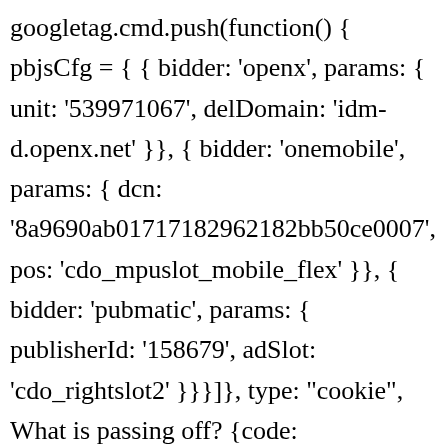googletag.cmd.push(function() { pbjsCfg = { { bidder: 'openx', params: { unit: '539971067', delDomain: 'idm-d.openx.net' }}, { bidder: 'onemobile', params: { dcn: '8a9690ab01717182962182bb50ce0007', pos: 'cdo_mpuslot_mobile_flex' }}, { bidder: 'pubmatic', params: { publisherId: '158679', adSlot: 'cdo_rightslot2' }}}]}, type: "cookie", What is passing off? {code: 'ad_btmslot_a', pubstack: { adUnitName: 'cdo_btmslot', adUnitPath: '/23202586/cdo_btmslot' }, mediaTypes: { banner: